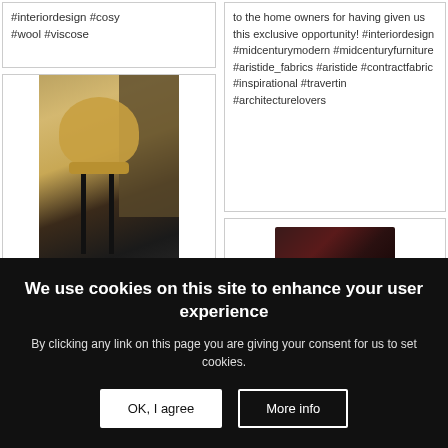#interiordesign #cosy #wool #viscose
[Figure (photo): Bar stool with fuzzy golden/beige seat back against dark wood paneling in a bar setting]
to the home owners for having given us this exclusive opportunity! #interiordesign #midcenturymodern #midcenturyfurniture #aristide_fabrics #aristide #contractfabric #inspirational #travertin #architecturelovers
[Figure (photo): Dark marble or wood table surface]
We use cookies on this site to enhance your user experience
By clicking any link on this page you are giving your consent for us to set cookies.
OK, I agree
More info